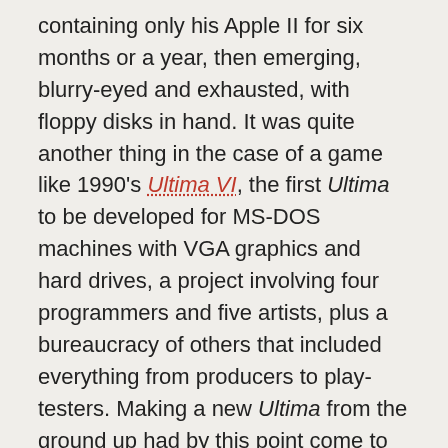containing only his Apple II for six months or a year, then emerging, blurry-eyed and exhausted, with floppy disks in hand. It was quite another thing in the case of a game like 1990's Ultima VI, the first Ultima to be developed for MS-DOS machines with VGA graphics and hard drives, a project involving four programmers and five artists, plus a bureaucracy of others that included everything from producers to play-testers. Making a new Ultima from the ground up had by this point come to entail much more than just writing a game engine; it required a whole new technical infrastructure of editors and other software tools that let the design team, to paraphrase Origin's favorite marketing tagline, create their latest world.
But, while development costs thus skyrocketed, sales weren't increasing to match. Each new entry in the series since Ultima IV had continued to sell a consistent 200,000 to 250,000 copies. These were very good numbers for the